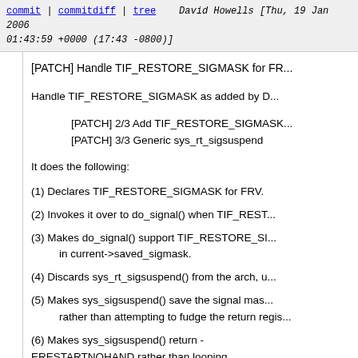commit | commitdiff | tree    David Howells [Thu, 19 Jan 2006 01:43:59 +0000 (17:43 -0800)]
[PATCH] Handle TIF_RESTORE_SIGMASK for FR...
Handle TIF_RESTORE_SIGMASK as added by D...
[PATCH] 2/3 Add TIF_RESTORE_SIGMASK...
[PATCH] 3/3 Generic sys_rt_sigsuspend
It does the following:
(1) Declares TIF_RESTORE_SIGMASK for FRV.
(2) Invokes it over to do_signal() when TIF_REST...
(3) Makes do_signal() support TIF_RESTORE_SI...
    in current->saved_sigmask.
(4) Discards sys_rt_sigsuspend() from the arch, u...
(5) Makes sys_sigsuspend() save the signal mas...
    rather than attempting to fudge the return regis...
(6) Makes sys_sigsuspend() return -ERESTARTNOHAND rather than looping
    intrinsically.
(7) Makes setup_frame(), setup_rt_frame() and ha...